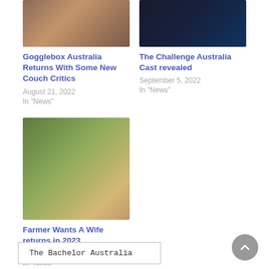[Figure (photo): Gogglebox Australia group photo on couch]
Gogglebox Australia Returns With Some New Couch Critics
August 21, 2022
In "News"
[Figure (photo): The Challenge Australia cast group photo]
The Challenge Australia Cast revealed
September 5, 2022
In "News"
[Figure (photo): Farmer Wants A Wife cast grid with photos of farmers]
Farmer Wants A Wife returns in 2023
August 20, 2022
In "News"
The Bachelor Australia